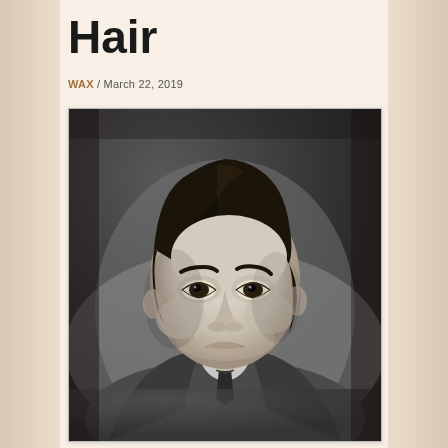Hair
WAX / March 22, 2019
[Figure (photo): Vintage black and white portrait photograph of a young man with neatly combed dark hair, wearing a suit and tie, looking directly at the camera with a serious expression. Studio portrait style, mid-20th century aesthetic.]